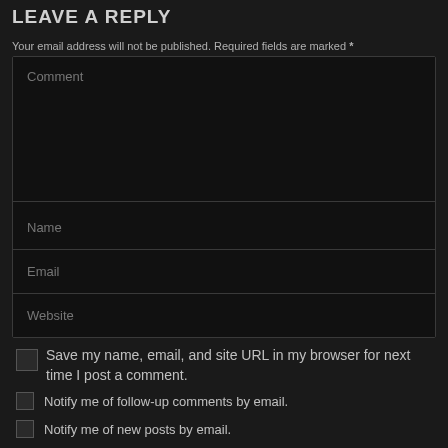LEAVE A REPLY
Your email address will not be published. Required fields are marked *
[Figure (screenshot): Web comment form with fields for Comment (textarea), Name, Email, Website, and checkboxes for saving info and notifications, plus a Post Comment button.]